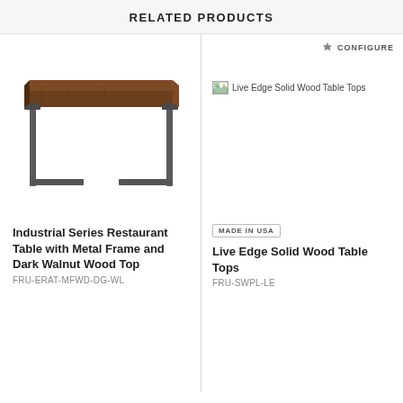RELATED PRODUCTS
[Figure (photo): Industrial restaurant table with metal frame and dark walnut wood top, shown from a three-quarter angle]
[Figure (photo): Live Edge Solid Wood Table Tops product image (broken/not loaded), with CONFIGURE button and MADE IN USA badge]
Industrial Series Restaurant Table with Metal Frame and Dark Walnut Wood Top
FRU-ERAT-MFWD-DG-WL
Live Edge Solid Wood Table Tops
FRU-SWPL-LE